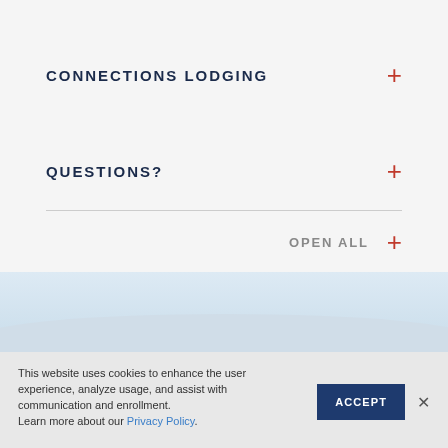CONNECTIONS LODGING
QUESTIONS?
OPEN ALL
This website uses cookies to enhance the user experience, analyze usage, and assist with communication and enrollment. Learn more about our Privacy Policy.